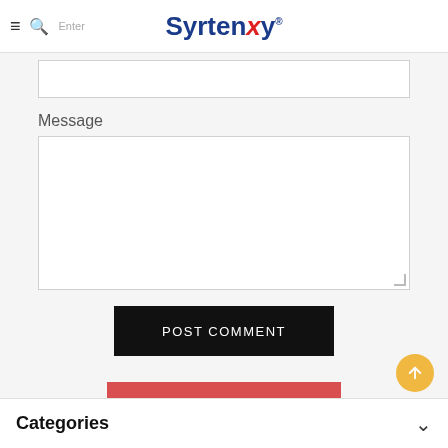Syrtenty
Message
POST COMMENT
◄ BACK TO ELDERLY CARE
Categories